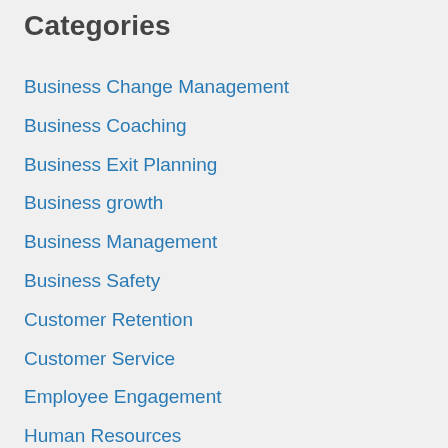Categories
Business Change Management
Business Coaching
Business Exit Planning
Business growth
Business Management
Business Safety
Customer Retention
Customer Service
Employee Engagement
Human Resources
Human Resources
Leadership
Marketing